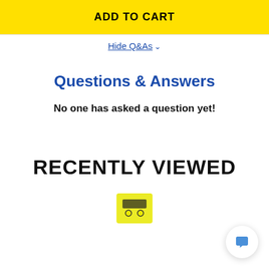ADD TO CART
Hide Q&As
Questions & Answers
No one has asked a question yet!
RECENTLY VIEWED
[Figure (photo): Product thumbnail image partially visible at the bottom of the page]